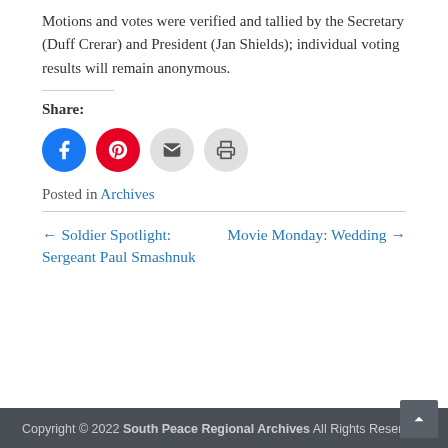Motions and votes were verified and tallied by the Secretary (Duff Crerar) and President (Jan Shields); individual voting results will remain anonymous.
Share:
[Figure (infographic): Four social share buttons: Facebook (blue circle), Pinterest (red circle), Email (gray circle), Print (gray circle)]
Posted in Archives
← Soldier Spotlight: Sergeant Paul Smashnuk
Movie Monday: Wedding →
Copyright © 2022 South Peace Regional Archives All Rights Reserved.